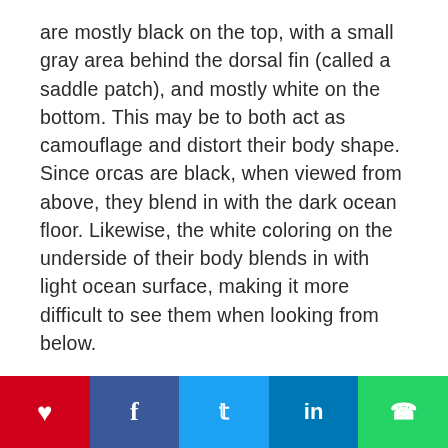are mostly black on the top, with a small gray area behind the dorsal fin (called a saddle patch), and mostly white on the bottom. This may be to both act as camouflage and distort their body shape. Since orcas are black, when viewed from above, they blend in with the dark ocean floor. Likewise, the white coloring on the underside of their body blends in with light ocean surface, making it more difficult to see them when looking from below.
The striking black and white coloring has another effect - the bold contrast between the two colors where they meet on either side of an
[Figure (infographic): Social share bar with five buttons: heart/like (red), Facebook (dark blue), Twitter (light blue), LinkedIn (blue), WhatsApp (green)]